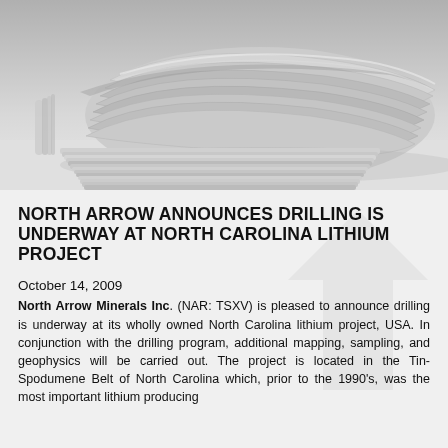[Figure (photo): Close-up photograph of a folded/rolled newspaper stack from above, showing layers of paper in black and white tones.]
NORTH ARROW ANNOUNCES DRILLING IS UNDERWAY AT NORTH CAROLINA LITHIUM PROJECT
October 14, 2009
North Arrow Minerals Inc. (NAR: TSXV) is pleased to announce drilling is underway at its wholly owned North Carolina lithium project, USA. In conjunction with the drilling program, additional mapping, sampling, and geophysics will be carried out. The project is located in the Tin-Spodumene Belt of North Carolina which, prior to the 1990's, was the most important lithium producing